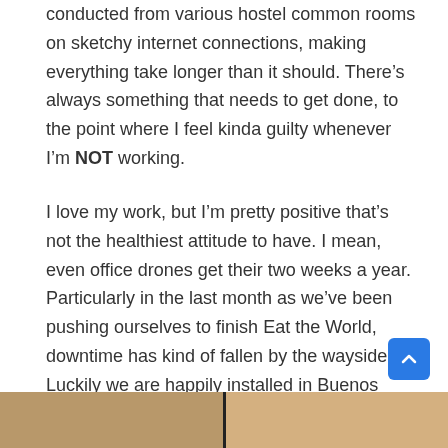conducted from various hostel common rooms on sketchy internet connections, making everything take longer than it should. There’s always something that needs to get done, to the point where I feel kinda guilty whenever I’m NOT working.
I love my work, but I’m pretty positive that’s not the healthiest attitude to have. I mean, even office drones get their two weeks a year. Particularly in the last month as we’ve been pushing ourselves to finish Eat the World, downtime has kind of fallen by the wayside. Luckily we are happily installed in Buenos Aires with desks and lightening fast internet, but it still kind of zaps the joy and wonder out of living in a new place.
[Figure (photo): Partial view of two photos side by side at the bottom of the page, cropped]